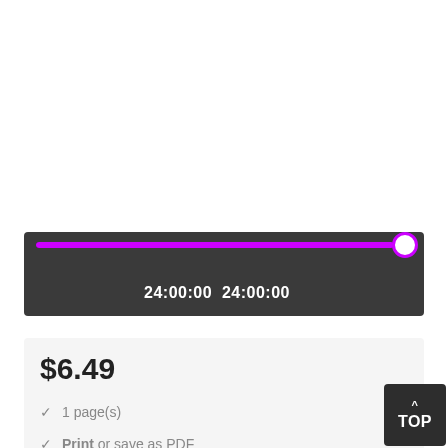[Figure (screenshot): A dark media player progress bar showing a purple/magenta fill nearly at the end with a white circular thumb, and time display showing '24:00:00 24:00:00']
$6.49
✓ 1 page(s)
✓ Print or save as PDF